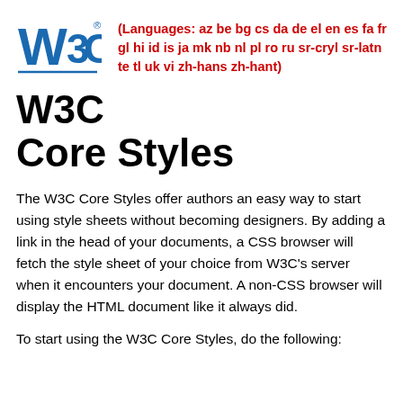[Figure (logo): W3C logo in blue with registered trademark symbol, underlined]
(Languages: az be bg cs da de el en es fa fr gl hi id is ja mk nb nl pl ro ru sr-cryl sr-latn te tl uk vi zh-hans zh-hant)
W3C
Core Styles
The W3C Core Styles offer authors an easy way to start using style sheets without becoming designers. By adding a link in the head of your documents, a CSS browser will fetch the style sheet of your choice from W3C's server when it encounters your document. A non-CSS browser will display the HTML document like it always did.
To start using the W3C Core Styles, do the following: